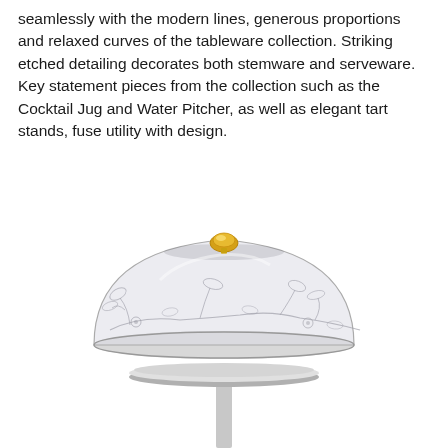seamlessly with the modern lines, generous proportions and relaxed curves of the tableware collection. Striking etched detailing decorates both stemware and serveware. Key statement pieces from the collection such as the Cocktail Jug and Water Pitcher, as well as elegant tart stands, fuse utility with design.
[Figure (photo): A glass tart stand/cake stand with a domed cloche cover. The dome features etched floral and leaf decorations. The lid has a gold nugget-shaped knob on top. The stand has a slim pedestal base.]